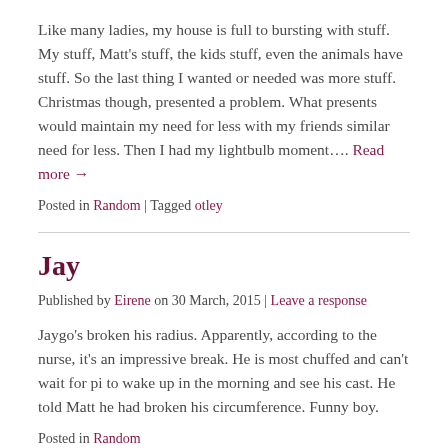Like many ladies, my house is full to bursting with stuff. My stuff, Matt's stuff, the kids stuff, even the animals have stuff. So the last thing I wanted or needed was more stuff. Christmas though, presented a problem. What presents would maintain my need for less with my friends similar need for less. Then I had my lightbulb moment…. Read more →
Posted in Random | Tagged otley
Jay
Published by Eirene on 30 March, 2015 | Leave a response
Jaygo's broken his radius. Apparently, according to the nurse, it's an impressive break. He is most chuffed and can't wait for pi to wake up in the morning and see his cast. He told Matt he had broken his circumference. Funny boy.
Posted in Random